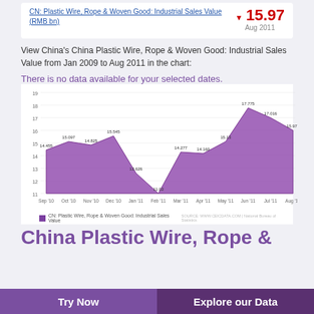CN: Plastic Wire, Rope & Woven Good: Industrial Sales Value (RMB bn)
▼ 15.97
Aug 2011
View China's China Plastic Wire, Rope & Woven Good: Industrial Sales Value from Jan 2009 to Aug 2011 in the chart:
There is no data available for your selected dates.
[Figure (area-chart): CN: Plastic Wire, Rope & Woven Good: Industrial Sales Value]
China Plastic Wire, Rope &
Try Now
Explore our Data